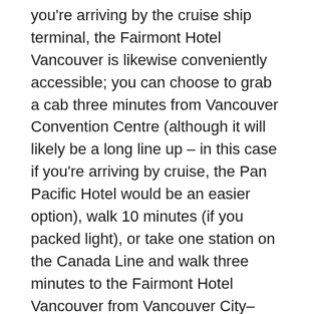you're arriving by the cruise ship terminal, the Fairmont Hotel Vancouver is likewise conveniently accessible; you can choose to grab a cab three minutes from Vancouver Convention Centre (although it will likely be a long line up – in this case if you're arriving by cruise, the Pan Pacific Hotel would be an easier option), walk 10 minutes (if you packed light), or take one station on the Canada Line and walk three minutes to the Fairmont Hotel Vancouver from Vancouver City–Centre Canada Line Station.
The Fairmont Hotel Vancouver Transit Accessibility:
As far as public transport is concerned...within five minutes either direction you will find two SkyTrain Station. The first is Vancouver City–Centre Canada Line station which is a three minutes walk from the Fairmont Hotel Vancouver on West Georgia to